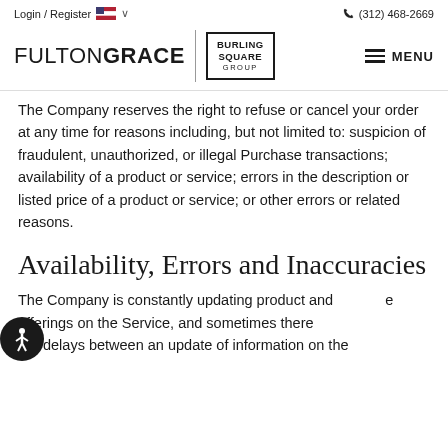Login / Register   🇺🇸 ∨                    📞 (312) 468-2669
[Figure (logo): FultonGrace | Burling Square Group logo with menu button]
The Company reserves the right to refuse or cancel your order at any time for reasons including, but not limited to: suspicion of fraudulent, unauthorized, or illegal Purchase transactions; availability of a product or service; errors in the description or listed price of a product or service; or other errors or related reasons.
Availability, Errors and Inaccuracies
The Company is constantly updating product and service offerings on the Service, and sometimes there are delays between an update of information on the